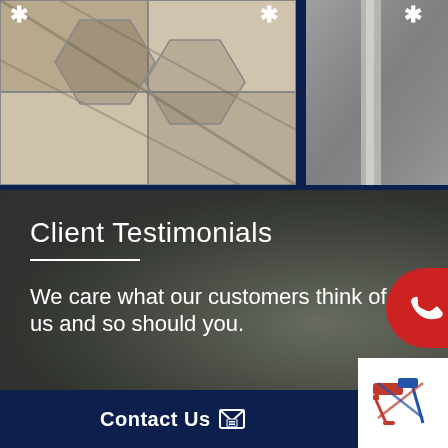[Figure (photo): Close-up photo of stone/tile flooring with grout lines, beige and gray tones]
[Figure (photo): Partial photo on right side, appears to show a metallic or reflective surface]
Client Testimonials
We care what our customers think of us and so should you.
[Figure (illustration): Red phone button / call-to-action button with phone handset icon]
Contact Us
[Figure (logo): Logo with crossed paint roller and hammer tools in red and blue]